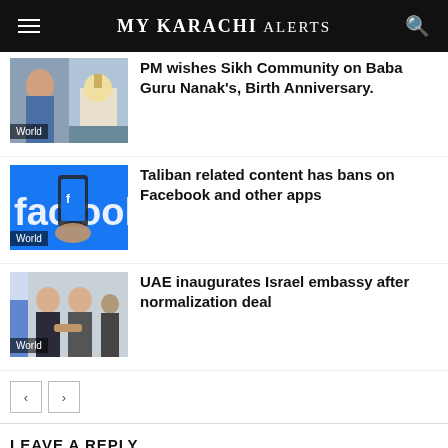MY KARACHI ALERTS
[Figure (screenshot): Thumbnail showing a man and a Sikh temple (gurdwara) with 'World' label]
PM wishes Sikh Community on Baba Guru Nanak's, Birth Anniversary.
[Figure (screenshot): Thumbnail showing Facebook logo and a hand holding a phone with 'World' label]
Taliban related content has bans on Facebook and other apps
[Figure (screenshot): Thumbnail showing two men in suits shaking hands with 'World' label]
UAE inaugurates Israel embassy after normalization deal
< >
LEAVE A REPLY